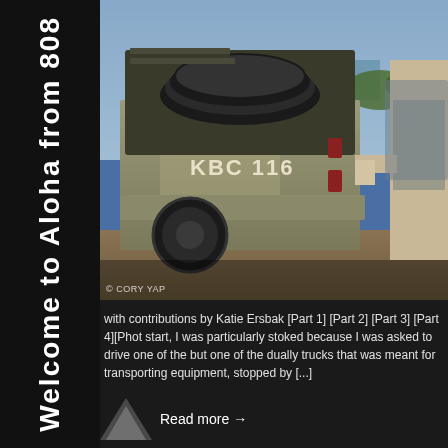Welcome to Aloha from 808
[Figure (photo): Old dusty pickup truck (marked KBC 116) with black irrigation pipes/hoses loaded in the truck bed. A person is visible on the right unloading. Blue sky and vegetation in background.]
© CORY YAP
with contributions by Katie Ersbak [Part 1] [Part 2] [Part 3] [Part 4][Phot start, I was particularly stoked because I was asked to drive one of the but one of the dually trucks that was meant for transporting equipment, stopped by [...]
Read more →